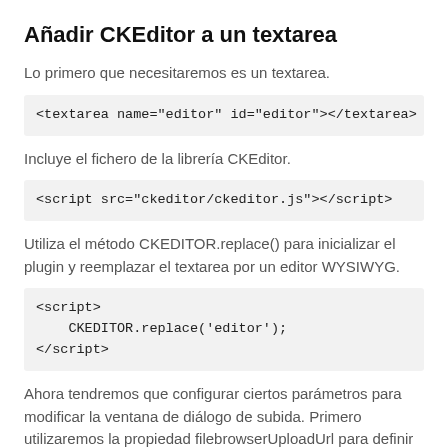Añadir CKEditor a un textarea
Lo primero que necesitaremos es un textarea.
<textarea name="editor" id="editor"></textarea>
Incluye el fichero de la librería CKEditor.
<script src="ckeditor/ckeditor.js"></script>
Utiliza el método CKEDITOR.replace() para inicializar el plugin y reemplazar el textarea por un editor WYSIWYG.
<script>
    CKEDITOR.replace('editor');
</script>
Ahora tendremos que configurar ciertos parámetros para modificar la ventana de diálogo de subida. Primero utilizaremos la propiedad filebrowserUploadUrl para definir la URL del script que subirá las imágenes (ck_upload.php). Después, modificaremos también la configuración...